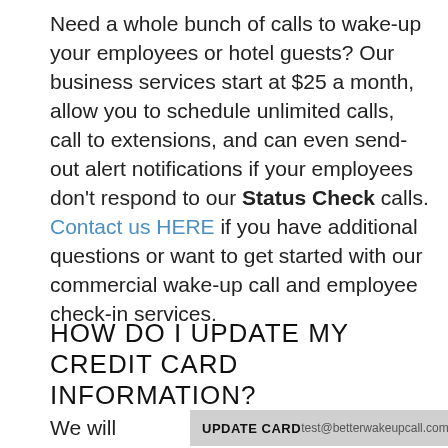Need a whole bunch of calls to wake-up your employees or hotel guests? Our business services start at $25 a month, allow you to schedule unlimited calls, call to extensions, and can even send-out alert notifications if your employees don't respond to our Status Check calls. Contact us HERE if you have additional questions or want to get started with our commercial wake-up call and employee check-in services.
HOW DO I UPDATE MY CREDIT CARD INFORMATION?
We will